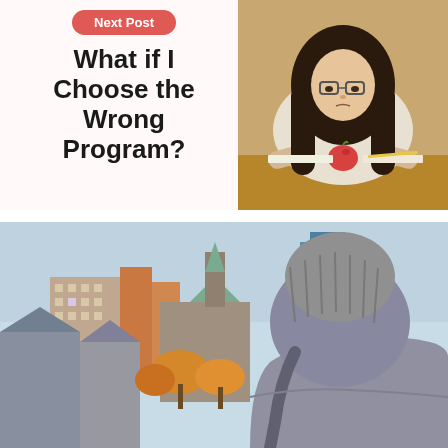Next Post
What if I Choose the Wrong Program?
[Figure (photo): Young woman with glasses and long dark hair sitting at a desk with an apple and books, looking stressed with her hands on her head]
[Figure (photo): Person viewed from behind wearing a grey hoodie and knit cap, looking out at a university campus skyline with autumn trees and city buildings]